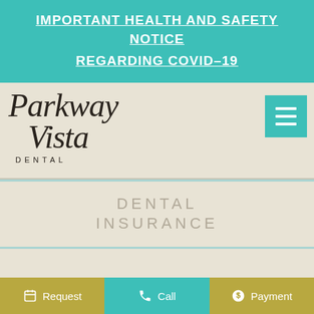IMPORTANT HEALTH AND SAFETY NOTICE REGARDING COVID-19
[Figure (logo): Parkway Vista Dental cursive script logo with menu hamburger button]
DENTAL INSURANCE
COMMITTED TO QUALITY
Request   Call   Payment